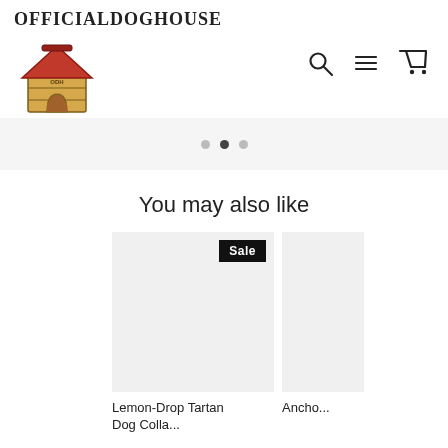OFFICIALDOGHOUSE
[Figure (logo): Dog house logo illustration with red roof and wooden walls]
[Figure (infographic): Navigation icons: search magnifying glass, hamburger menu, shopping cart]
[Figure (infographic): Carousel pagination dots: unfilled, filled (active), unfilled]
You may also like
[Figure (photo): Product image placeholder (light gray) with Sale badge in top right corner]
Lemon-Drop Tartan Dog Colla...
[Figure (photo): Partial product image placeholder (light gray), second product card partially visible]
Ancho...